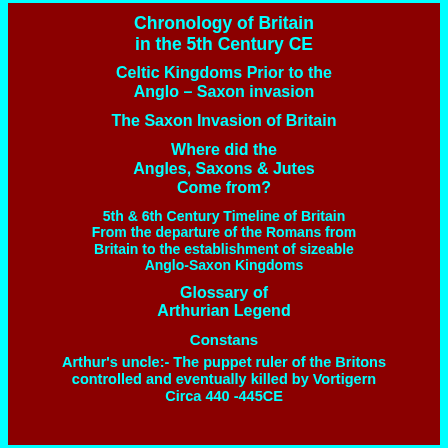Chronology of Britain in the 5th Century CE
Celtic Kingdoms Prior to the Anglo – Saxon invasion
The Saxon Invasion of Britain
Where did the Angles, Saxons & Jutes Come from?
5th & 6th Century Timeline of Britain From the departure of the Romans from Britain to the establishment of sizeable Anglo-Saxon Kingdoms
Glossary of Arthurian Legend
Constans
Arthur's uncle:- The puppet ruler of the Britons controlled and eventually killed by Vortigern Circa 440 -445CE